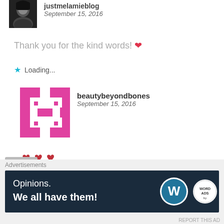[Figure (photo): Profile photo of justmelamieblog user - black and white portrait]
justmelamieblog
September 15, 2016
Thank you for the kind words! ❤
★ Loading...
[Figure (logo): beautybeyondbones pink geometric avatar logo]
beautybeyondbones
September 15, 2016
♥♥♥
★ Loading...
[Figure (photo): Partial profile photo at bottom]
Advertisements
[Figure (other): WordPress advertisement banner: Opinions. We all have them! with WordPress and WordAds logos]